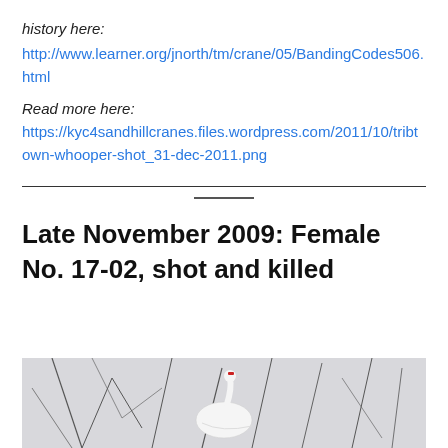history here:
http://www.learner.org/jnorth/tm/crane/05/BandingCodes506.html
Read more here:
https://kyc4sandhillcranes.files.wordpress.com/2011/10/tribtown-whooper-shot_31-dec-2011.png
Late November 2009: Female No. 17-02, shot and killed
[Figure (photo): A white whooping crane photographed among dark tree branches in a winter scene]